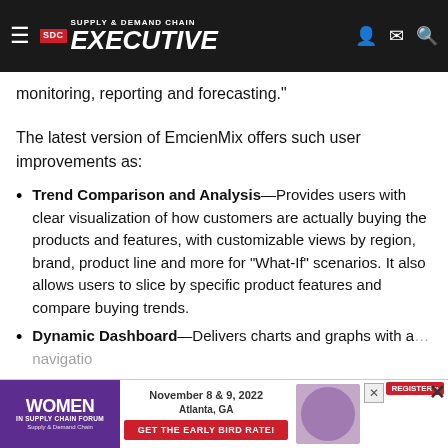Supply & Demand Chain Executive
monitoring, reporting and forecasting."
The latest version of EmcienMix offers such user improvements as:
Trend Comparison and Analysis—Provides users with clear visualization of how customers are actually buying the products and features, with customizable views by region, brand, product line and more for "What-If" scenarios. It also allows users to slice by specific product features and compare buying trends.
Dynamic Dashboard—Delivers charts and graphs with a... navigatio...
Me... ...mplifies